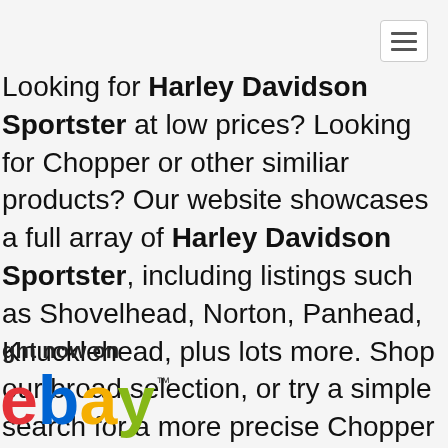[Figure (other): Navigation hamburger menu button (three horizontal lines) in top-right corner]
Looking for Harley Davidson Sportster at low prices? Looking for Chopper or other similiar products? Our website showcases a full array of Harley Davidson Sportster, including listings such as Shovelhead, Norton, Panhead, Knucklehead, plus lots more. Shop our broad selection, or try a simple search for a more precise Chopper . This site has access to thousands of items from online retailers, so our site just might have what you are trying to find! Purchase Harley Davidson Sportster today!
ght now on
[Figure (logo): eBay logo with colored letters: red e, blue b, yellow a, green y, with TM superscript]